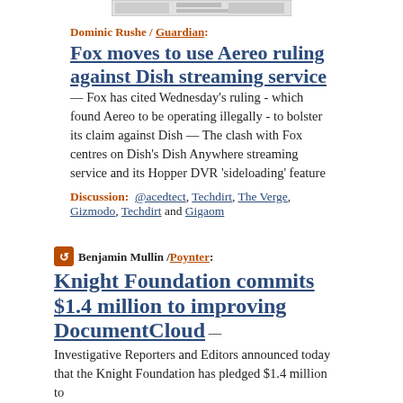[Figure (screenshot): Small thumbnail preview of an article/webpage]
Dominic Rushe / Guardian:
Fox moves to use Aereo ruling against Dish streaming service
— Fox has cited Wednesday's ruling - which found Aereo to be operating illegally - to bolster its claim against Dish — The clash with Fox centres on Dish's Dish Anywhere streaming service and its Hopper DVR 'sideloading' feature
Discussion: @acedtect, Techdirt, The Verge, Gizmodo, Techdirt and Gigaom
Benjamin Mullin / Poynter:
Knight Foundation commits $1.4 million to improving DocumentCloud
— Investigative Reporters and Editors announced today that the Knight Foundation has pledged $1.4 million to